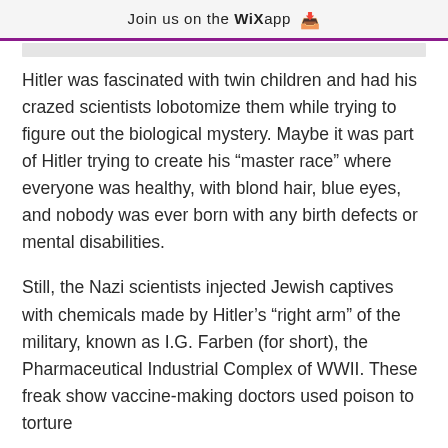Join us on the WiX app
Hitler was fascinated with twin children and had his crazed scientists lobotomize them while trying to figure out the biological mystery. Maybe it was part of Hitler trying to create his “master race” where everyone was healthy, with blond hair, blue eyes, and nobody was ever born with any birth defects or mental disabilities.
Still, the Nazi scientists injected Jewish captives with chemicals made by Hitler’s “right arm” of the military, known as I.G. Farben (for short), the Pharmaceutical Industrial Complex of WWII. These freak show vaccine-making doctors used poison to torture